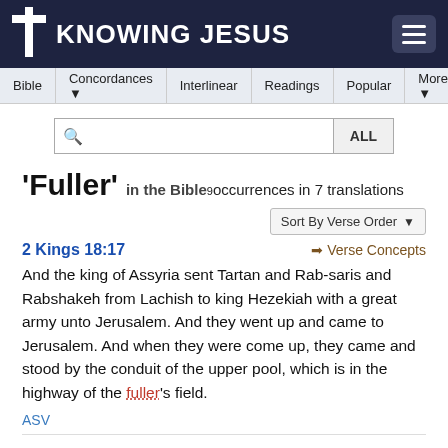KNOWING JESUS
Bible | Concordances | Interlinear | Readings | Popular | More
'Fuller' in the Bible 9 occurrences in 7 translations
Sort By Verse Order
2 Kings 18:17
Verse Concepts
And the king of Assyria sent Tartan and Rab-saris and Rabshakeh from Lachish to king Hezekiah with a great army unto Jerusalem. And they went up and came to Jerusalem. And when they were come up, they came and stood by the conduit of the upper pool, which is in the highway of the fuller's field.
ASV